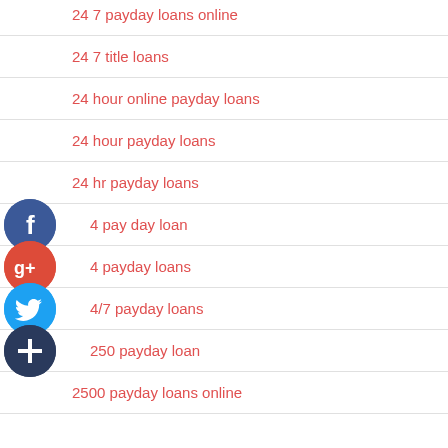24 7 payday loans online
24 7 title loans
24 hour online payday loans
24 hour payday loans
24 hr payday loans
24 pay day loan
24 payday loans
24/7 payday loans
250 payday loan
2500 payday loans online